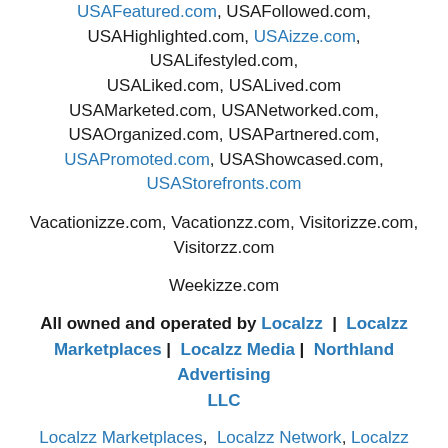USAFeatured.com, USAFollowed.com, USAHighlighted.com, USAizze.com, USALifestyled.com, USALiked.com, USALived.com USAMarketed.com, USANetworked.com, USAOrganized.com, USAPartnered.com, USAPromoted.com, USAShowcased.com, USAStorefronts.com
Vacationizze.com, Vacationzz.com, Visitorizze.com, Visitorzz.com
Weekizze.com
All owned and operated by Localzz | Localzz Marketplaces | Localzz Media | Northland Advertising LLC
Localzz Marketplaces, Localzz Network, Localzz Media, and Localzz owns many branded digital properties with category